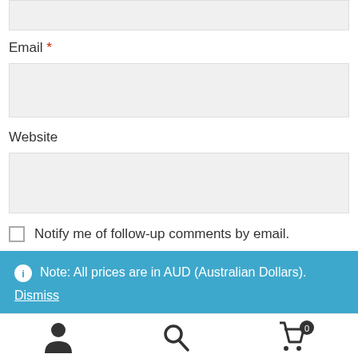[Figure (screenshot): Top input field (partially visible, grey background)]
Email *
[Figure (screenshot): Email input field, grey background]
Website
[Figure (screenshot): Website input field, grey background]
Notify me of follow-up comments by email.
Notify me of new posts by email.
Note: All prices are in AUD (Australian Dollars).
Dismiss
[Figure (screenshot): Bottom navigation bar with user, search, and cart icons]